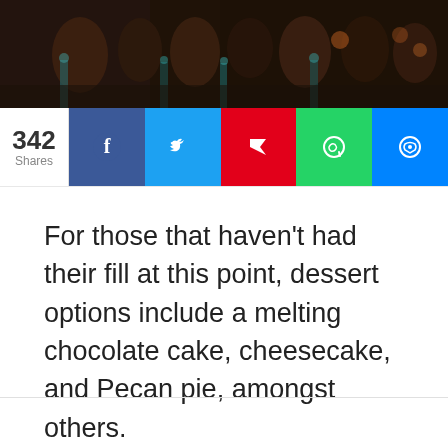[Figure (photo): Dark restaurant interior with chairs and tables, moody lighting with teal and warm tones]
342 Shares
For those that haven't had their fill at this point, dessert options include a melting chocolate cake, cheesecake, and Pecan pie, amongst others.